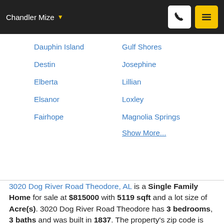Chandler Mize
Dauphin Island
Gulf Shores
Destin
Josephine
Elberta
Lillian
Elsanor
Loxley
Fairhope
Magnolia Springs
Show More...
3020 Dog River Road Theodore, AL is a Single Family Home for sale at $815000 with 5119 sqft and a lot size of Acre(s). 3020 Dog River Road Theodore has 3 bedrooms, 3 baths and was built in 1837. The property's zip code is 36582 which is in Theodore, AL